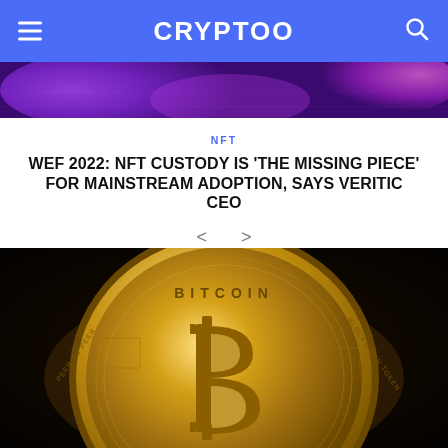CRYPTOO
[Figure (photo): Purple/pink glowing NFT-themed abstract banner image, partially visible at top of card]
NFT
WEF 2022: NFT CUSTODY IS ‘THE MISSING PIECE’ FOR MAINSTREAM ADOPTION, SAYS VERITIC CEO
[Figure (photo): Gold Bitcoin coin close-up on dark black background, showing the Bitcoin logo and text PEER TO PEER, BLOCKCHAIN TOKEN, DECENTRALIZED]